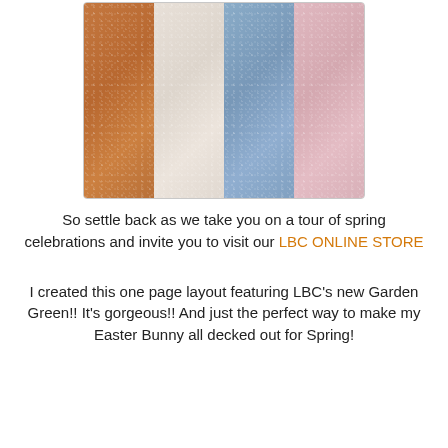[Figure (photo): Photo of four fabric swatches laid side by side: orange/terracotta, cream/white, light blue, and light pink fuzzy textured fabric strips]
So settle back as we take you on a tour of spring celebrations and invite you to visit our LBC ONLINE STORE
I created this one page layout featuring LBC's new Garden Green!! It's gorgeous!! And just the perfect way to make my Easter Bunny all decked out for Spring!